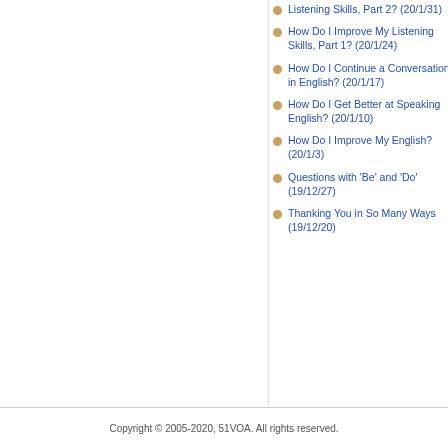How Do I Improve My Listening Skills, Part 2? (20/1/31)
How Do I Improve My Listening Skills, Part 1? (20/1/24)
How Do I Continue a Conversation in English? (20/1/17)
How Do I Get Better at Speaking English? (20/1/10)
How Do I Improve My English? (20/1/3)
Questions with 'Be' and 'Do' (19/12/27)
Thanking You in So Many Ways (19/12/20)
Copyright © 2005-2020, 51VOA. All rights reserved.